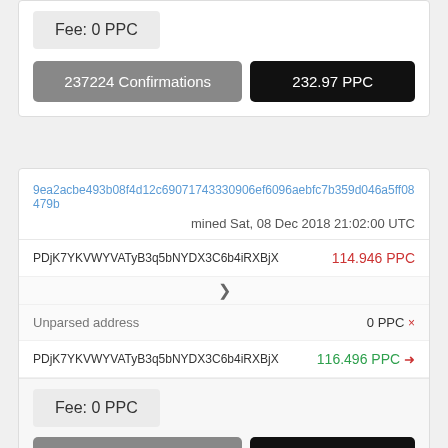Fee: 0 PPC
237224 Confirmations
232.97 PPC
9ea2acbe493b08f4d12c69071743330906ef6096aebfc7b359d046a5ff08479b
mined Sat, 08 Dec 2018 21:02:00 UTC
PDjK7YKVWYVATyB3q5bNYDX3C6b4iRXBjX
114.946 PPC
Unparsed address
0 PPC ×
PDjK7YKVWYVATyB3q5bNYDX3C6b4iRXBjX
116.496 PPC →
Fee: 0 PPC
237536 Confirmations
116.496 PPC